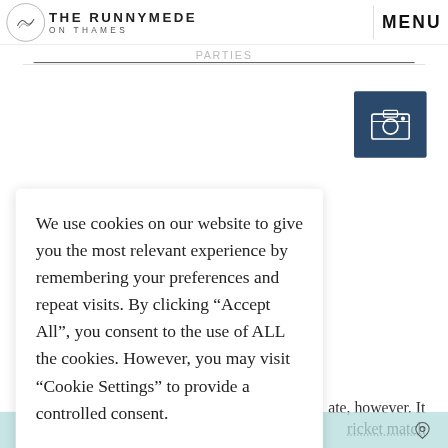THE RUNNYMEDE ON THAMES | MENU
[Figure (screenshot): Camera/gallery icon in dark navy square]
We use cookies on our website to give you the most relevant experience by remembering your preferences and repeat visits. By clicking “Accept All”, you consent to the use of ALL the cookies. However, you may visit “Cookie Settings” to provide a controlled consent.
Cookie Settings | Accept All
ate, however. It
ricket match
BOOK NOW